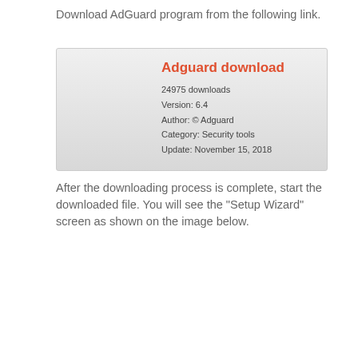Download AdGuard program from the following link.
[Figure (other): Download info box showing Adguard download link with metadata: 24975 downloads, Version: 6.4, Author: © Adguard, Category: Security tools, Update: November 15, 2018]
After the downloading process is complete, start the downloaded file. You will see the “Setup Wizard” screen as shown on the image below.